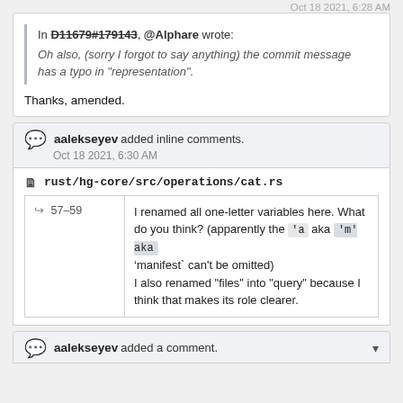Oct 18 2021, 6:28 AM
In D11679#179143, @Alphare wrote:
Oh also, (sorry I forgot to say anything) the commit message has a typo in "representation".
Thanks, amended.
aalekseyev added inline comments.
Oct 18 2021, 6:30 AM
rust/hg-core/src/operations/cat.rs
57-59
I renamed all one-letter variables here. What do you think? (apparently the 'a aka 'm' aka 'manifest` can't be omitted)
I also renamed "files" into "query" because I think that makes its role clearer.
aalekseyev added a comment.